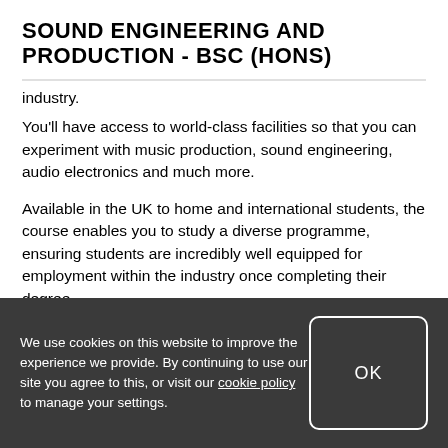SOUND ENGINEERING AND PRODUCTION - BSC (HONS)
...industry.
You'll have access to world-class facilities so that you can experiment with music production, sound engineering, audio electronics and much more.
Available in the UK to home and international students, the course enables you to study a diverse programme, ensuring students are incredibly well equipped for employment within the industry once completing their degree.
We use cookies on this website to improve the experience we provide. By continuing to use our site you agree to this, or visit our cookie policy to manage your settings.